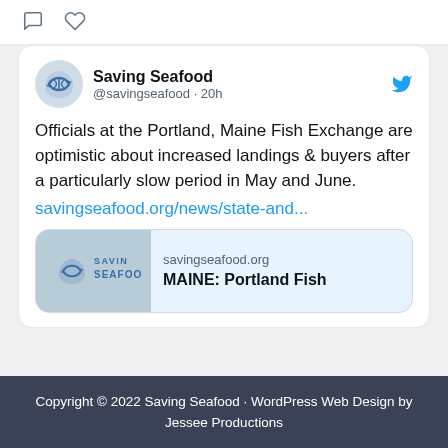[Figure (illustration): Comment and heart/like icons row at top of tweet card]
[Figure (illustration): Saving Seafood Twitter card with avatar logo, handle @savingseafood, 20h timestamp, Twitter bird icon, tweet text about Portland Maine Fish Exchange optimism about increased landings and buyers, link to savingseafood.org/news/state-and..., and link preview card showing savingseafood.org domain and MAINE: Portland Fish headline]
Copyright © 2022 Saving Seafood · WordPress Web Design by Jessee Productions